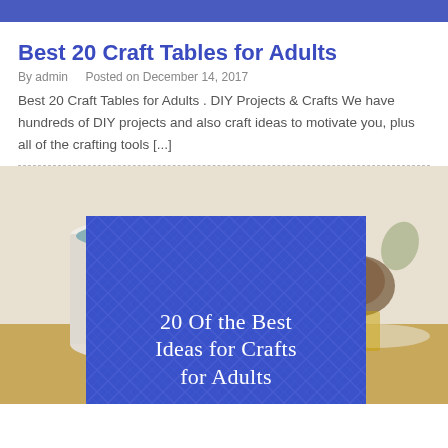Best 20 Craft Tables for Adults
By admin   Posted on December 14, 2017
Best 20 Craft Tables for Adults . DIY Projects & Crafts We have hundreds of DIY projects and also craft ideas to motivate you, plus all of the crafting tools [...]
[Figure (photo): A white ceramic mug with autumn leaf pattern on a wooden surface, with a blurred background. Overlaid with a blue patterned card reading '20 Of the Best Ideas for Crafts for Adults']